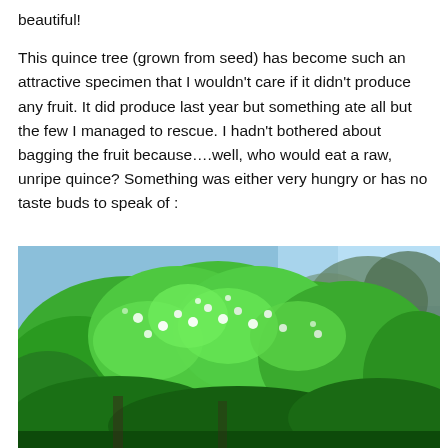beautiful!

This quince tree (grown from seed) has become such an attractive specimen that I wouldn't care if it didn't produce any fruit. It did produce last year but something ate all but the few I managed to rescue. I hadn't bothered about bagging the fruit because….well, who would eat a raw, unripe quince? Something was either very hungry or has no taste buds to speak of :
[Figure (photo): Photograph of a quince tree in full bloom with lush green foliage and white flowers against a blue sky background with other trees visible.]